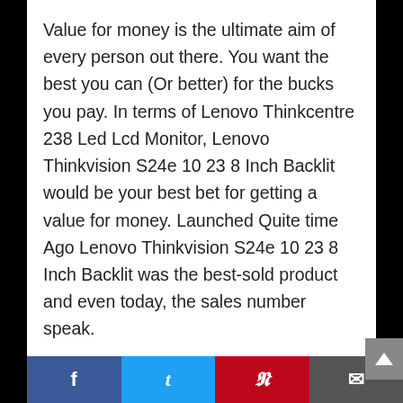Value for money is the ultimate aim of every person out there. You want the best you can (Or better) for the bucks you pay. In terms of Lenovo Thinkcentre 238 Led Lcd Monitor, Lenovo Thinkvision S24e 10 23 8 Inch Backlit would be your best bet for getting a value for money. Launched Quite time Ago Lenovo Thinkvision S24e 10 23 8 Inch Backlit was the best-sold product and even today, the sales number speak.
Having such amazing features, all this is bundled up at a cost, which may seem high for few, but is actually very good if you
Facebook | Twitter | Pinterest | Email